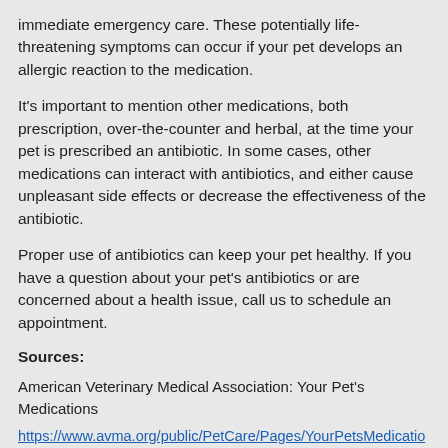immediate emergency care. These potentially life-threatening symptoms can occur if your pet develops an allergic reaction to the medication.
It's important to mention other medications, both prescription, over-the-counter and herbal, at the time your pet is prescribed an antibiotic. In some cases, other medications can interact with antibiotics, and either cause unpleasant side effects or decrease the effectiveness of the antibiotic.
Proper use of antibiotics can keep your pet healthy. If you have a question about your pet's antibiotics or are concerned about a health issue, call us to schedule an appointment.
Sources:
American Veterinary Medical Association: Your Pet's Medications
https://www.avma.org/public/PetCare/Pages/YourPetsMedications
Dog Guide: Human Antibiotics & Supplements That Are Safe for Dogs